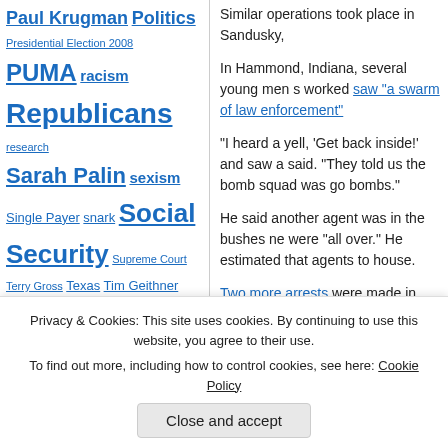Paul Krugman Politics Presidential Election 2008 PUMA racism Republicans research Sarah Palin sexism Single Payer snark Social Security Supreme Court Terry Gross Texas Tim Geithner unemployment Wall Street WikiLeaks women
Archives
Select Month
History
Similar operations took place in Sandusky,
In Hammond, Indiana, several young men s worked saw "a swarm of law enforcement"
"I heard a yell, 'Get back inside!' and saw a said. "They told us the bomb squad was go bombs."
He said another agent was in the bushes ne were "all over." He estimated that agents to house.
Two more arrests were made in Sandusky a above:
A young man who answered the door the family wanted to talk. A neighbor s his window and toward the trailer
Privacy & Cookies: This site uses cookies. By continuing to use this website, you agree to their use.
To find out more, including how to control cookies, see here: Cookie Policy
Close and accept